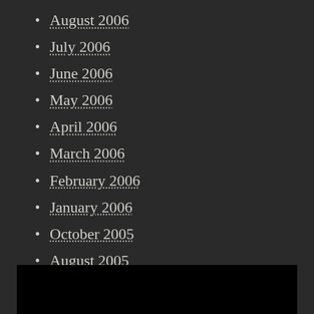August 2006
July 2006
June 2006
May 2006
April 2006
March 2006
February 2006
January 2006
October 2005
August 2005
July 2005
[Figure (other): Black rectangular block at bottom of page]